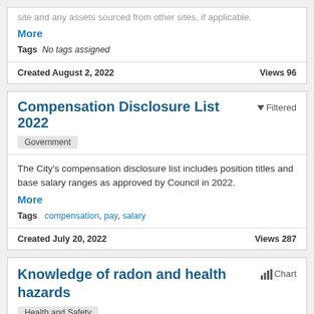site and any assets sourced from other sites, if applicable.
More
Tags  No tags assigned
Created August 2, 2022   Views 96
Compensation Disclosure List 2022
Filtered
Government
The City's compensation disclosure list includes position titles and base salary ranges as approved by Council in 2022.
More
Tags  compensation, pay, salary
Created July 20, 2022   Views 287
Knowledge of radon and health hazards
Chart
Health and Safety